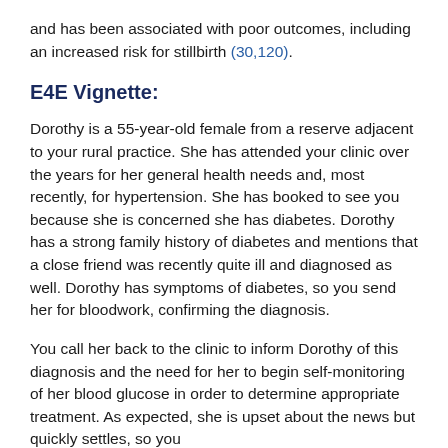and has been associated with poor outcomes, including an increased risk for stillbirth (30,120).
E4E Vignette:
Dorothy is a 55-year-old female from a reserve adjacent to your rural practice. She has attended your clinic over the years for her general health needs and, most recently, for hypertension. She has booked to see you because she is concerned she has diabetes. Dorothy has a strong family history of diabetes and mentions that a close friend was recently quite ill and diagnosed as well. Dorothy has symptoms of diabetes, so you send her for bloodwork, confirming the diagnosis.
You call her back to the clinic to inform Dorothy of this diagnosis and the need for her to begin self-monitoring of her blood glucose in order to determine appropriate treatment. As expected, she is upset about the news but quickly settles, so you